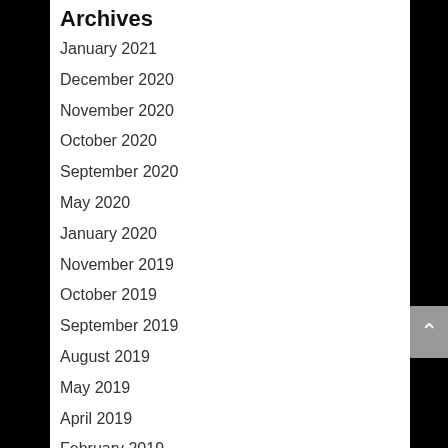Archives
January 2021
December 2020
November 2020
October 2020
September 2020
May 2020
January 2020
November 2019
October 2019
September 2019
August 2019
May 2019
April 2019
February 2019